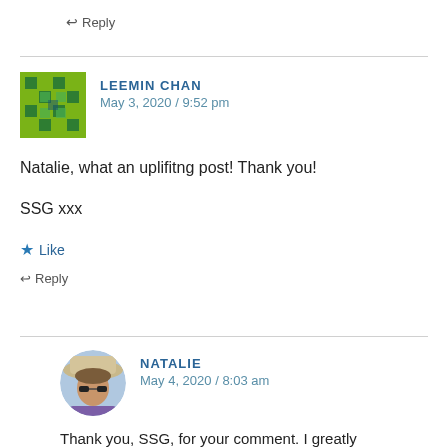↩ Reply
LEEMIN CHAN
May 3, 2020 / 9:52 pm
Natalie, what an uplifitng post! Thank you!
SSG xxx
★ Like
↩ Reply
NATALIE
May 4, 2020 / 8:03 am
Thank you, SSG, for your comment. I greatly appreciate it.